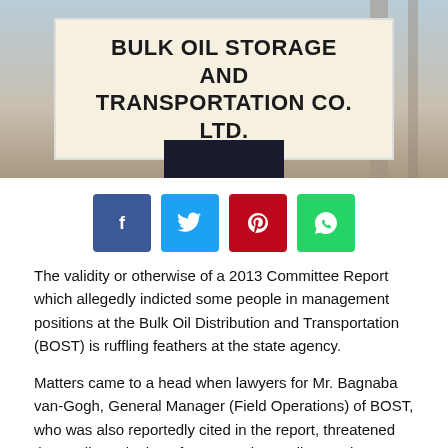[Figure (photo): Photo of a sign reading BULK OIL STORAGE AND TRANSPORTATION CO. LTD. on a building exterior]
[Figure (infographic): Social media share buttons: Facebook (blue), Twitter (light blue), Pinterest (red), WhatsApp (green)]
The validity or otherwise of a 2013 Committee Report which allegedly indicted some people in management positions at the Bulk Oil Distribution and Transportation (BOST) is ruffling feathers at the state agency.
Matters came to a head when lawyers for Mr. Bagnaba van-Gogh, General Manager (Field Operations) of BOST, who was also reportedly cited in the report, threatened the media and others for attempting to discuss the report.
There are media publications based on findings of a committee...